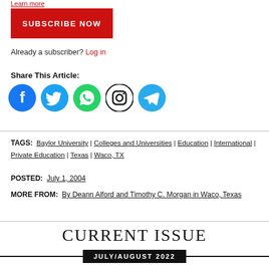Learn more
[Figure (other): Red SUBSCRIBE NOW button]
Already a subscriber? Log in
Share This Article:
[Figure (other): Social media icons: Facebook, Twitter, WhatsApp, Instagram, Telegram]
TAGS: Baylor University | Colleges and Universities | Education | International | Private Education | Texas | Waco, TX
POSTED: July 1, 2004
MORE FROM: By Deann Alford and Timothy C. Morgan in Waco, Texas
CURRENT ISSUE
JULY/AUGUST 2022